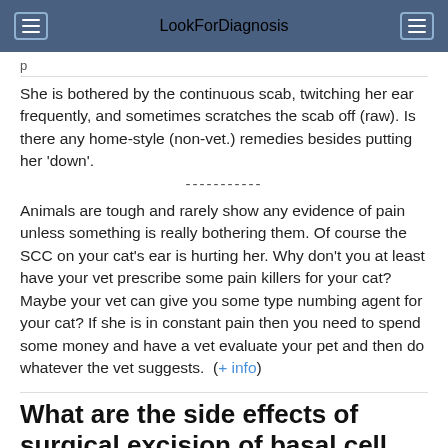LookForDiagnosis
She is bothered by the continuous scab, twitching her ear frequently, and sometimes scratches the scab off (raw). Is there any home-style (non-vet.) remedies besides putting her 'down'.
-----------
Animals are tough and rarely show any evidence of pain unless something is really bothering them. Of course the SCC on your cat's ear is hurting her. Why don't you at least have your vet prescribe some pain killers for your cat? Maybe your vet can give you some type numbing agent for your cat? If she is in constant pain then you need to spend some money and have a vet evaluate your pet and then do whatever the vet suggests.  (+ info)
What are the side effects of surgical excision of basal cell carcinoma?
Well, it would hurt and leave a scar. If you want better answers,